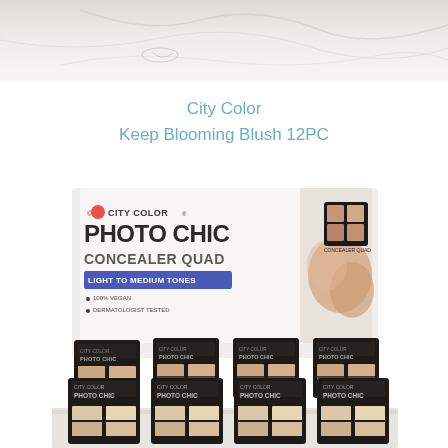[Figure (photo): Top portion of a white fabric or product texture background, partially cropped]
City Color
Keep Blooming Blush 12PC
[Figure (photo): Display box of City Color Photo Chic Concealer Quad (Light to Medium Tones) with 12 individual compact units arranged in rows showing the four-pan quad concealer palettes with beige/nude tones]